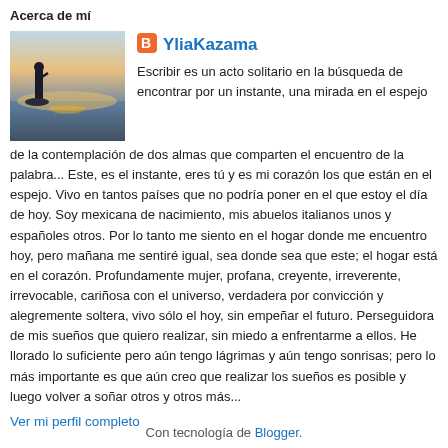Acerca de mí
[Figure (photo): Small profile photo showing a silhouette of a person near the sea at sunset/dusk]
YliaKazama
Escribir es un acto solitario en la búsqueda de encontrar por un instante, una mirada en el espejo de la contemplación de dos almas que comparten el encuentro de la palabra... Este, es el instante, eres tú y es mi corazón los que están en el espejo. Vivo en tantos países que no podría poner en el que estoy el día de hoy. Soy mexicana de nacimiento, mis abuelos italianos unos y españoles otros. Por lo tanto me siento en el hogar donde me encuentro hoy, pero mañana me sentiré igual, sea donde sea que este; el hogar está en el corazón. Profundamente mujer, profana, creyente, irreverente, irrevocable, cariñosa con el universo, verdadera por convicción y alegremente soltera, vivo sólo el hoy, sin empeñar el futuro. Perseguidora de mis sueños que quiero realizar, sin miedo a enfrentarme a ellos. He llorado lo suficiente pero aún tengo lágrimas y aún tengo sonrisas; pero lo más importante es que aún creo que realizar los sueños es posible y luego volver a soñar otros y otros más...
Ver mi perfil completo
Con tecnología de Blogger.